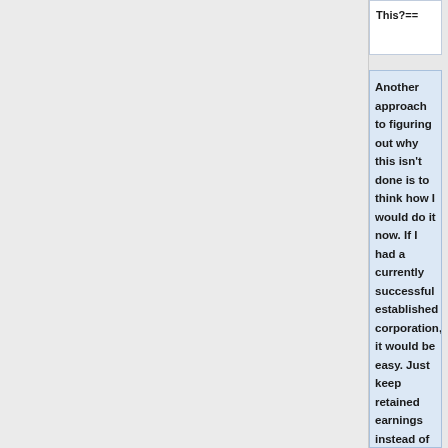This?==
Another approach to figuring out why this isn't done is to think how I would do it now. If I had a currently successful established corporation, it would be easy. Just keep retained earnings instead of reinvesting them or issuing dividends or making acquisitions,